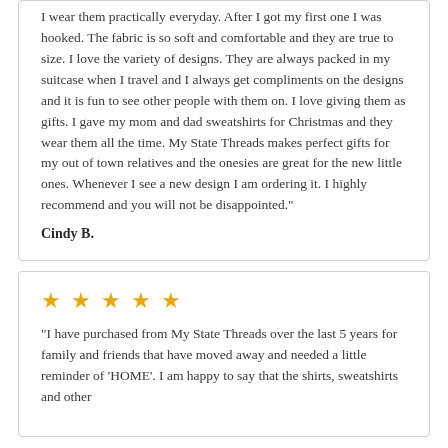I wear them practically everyday. After I got my first one I was hooked. The fabric is so soft and comfortable and they are true to size. I love the variety of designs. They are always packed in my suitcase when I travel and I always get compliments on the designs and it is fun to see other people with them on. I love giving them as gifts. I gave my mom and dad sweatshirts for Christmas and they wear them all the time. My State Threads makes perfect gifts for my out of town relatives and the onesies are great for the new little ones. Whenever I see a new design I am ordering it. I highly recommend and you will not be disappointed."
Cindy B.
[Figure (other): Five gold star rating icons]
"I have purchased from My State Threads over the last 5 years for family and friends that have moved away and needed a little reminder of 'HOME'. I am happy to say that the shirts, sweatshirts and other